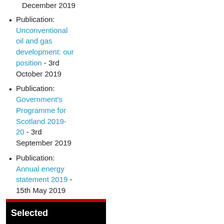December 2019
Publication: Unconventional oil and gas development: our position - 3rd October 2019
Publication: Government's Programme for Scotland 2019-20 - 3rd September 2019
Publication: Annual energy statement 2019 - 15th May 2019
[Figure (other): Black banner with red top border containing the text 'Selected']